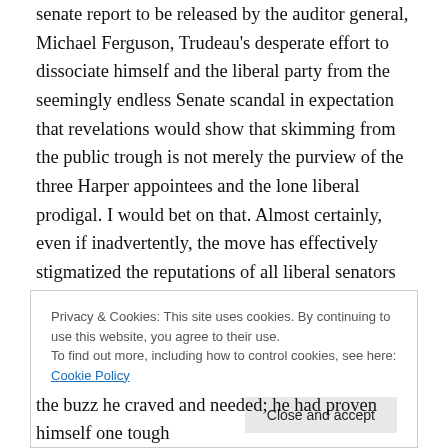senate report to be released by the auditor general, Michael Ferguson, Trudeau's desperate effort to dissociate himself and the liberal party from the seemingly endless Senate scandal in expectation that revelations would show that skimming from the public trough is not merely the purview of the three Harper appointees and the lone liberal prodigal. I would bet on that. Almost certainly, even if inadvertently, the move has effectively stigmatized the reputations of all liberal senators in the eyes of the public. What does Trudeau know or anticipate? It was neither right nor just but it was dam clever. The ball was thrown in Harper's court. The buzz was immediate: “bombshell’
Privacy & Cookies: This site uses cookies. By continuing to use this website, you agree to their use.
To find out more, including how to control cookies, see here: Cookie Policy
the buzz he craved and needed; he had proven himself one tough